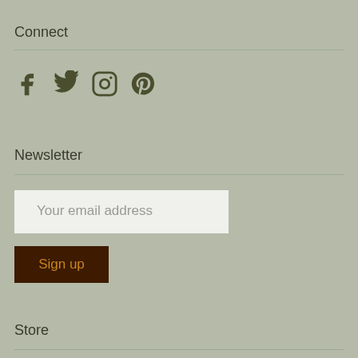Connect
[Figure (illustration): Social media icons: Facebook, Twitter, Instagram, Pinterest in dark olive green]
Newsletter
Your email address
Sign up
Store